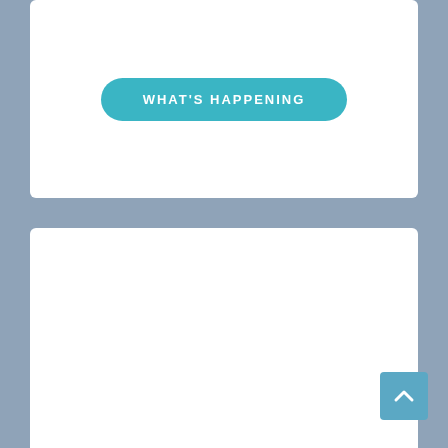[Figure (infographic): White card with a teal pill-shaped button labeled WHAT'S HAPPENING]
[Figure (infographic): White card with a green checkbox icon and a teal pill-shaped button labeled PARENT SQUARE]
[Figure (infographic): Partial white card at bottom and a teal scroll-to-top button in the bottom right corner]